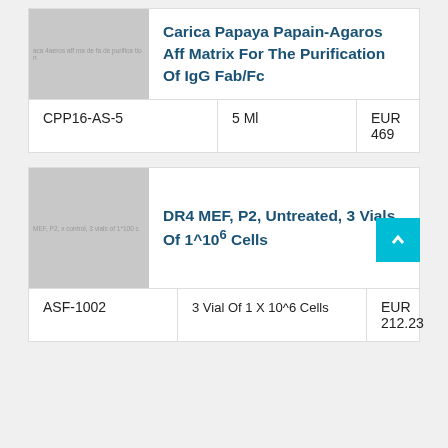[Figure (photo): Product image placeholder for Carica Papaya Papain-Agaros Aff Matrix with faint text overlay]
Carica Papaya Papain-Agaros Aff Matrix For The Purification Of IgG Fab/Fc
|  |  |  |
| --- | --- | --- |
| CPP16-AS-5 | 5 Ml | EUR 469 |
[Figure (photo): Product image placeholder for MEF P2 cells with faint label text overlay]
DR4 MEF, P2, Untreated, 3 Vials Of 1^10^6 Cells
|  |  |  |
| --- | --- | --- |
| ASF-1002 | 3 Vial Of 1 X 10^6 Cells | EUR 212.23 |